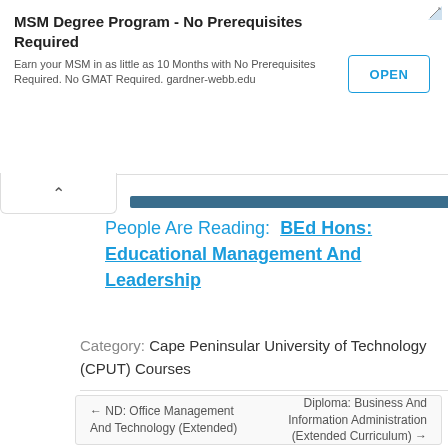[Figure (screenshot): Advertisement banner for MSM Degree Program with OPEN button]
People Are Reading:  BEd Hons: Educational Management And Leadership
Category:  Cape Peninsular University of Technology (CPUT) Courses
← ND: Office Management And Technology (Extended)   Diploma: Business And Information Administration (Extended Curriculum) →